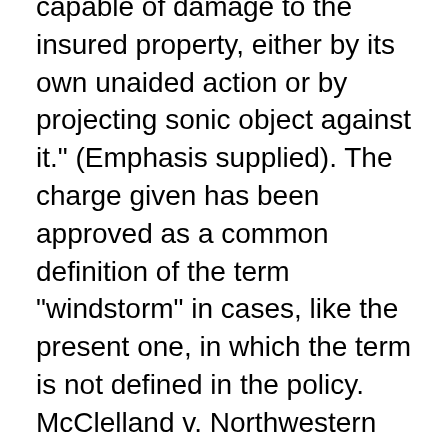capable of damage to the insured property, either by its own unaided action or by projecting sonic object against it." (Emphasis supplied). The charge given has been approved as a common definition of the term "windstorm" in cases, like the present one, in which the term is not defined in the policy. McClelland v. Northwestern Fire &c. Ins. Co., 91 Ga. App. 640, 643 (86 SE2d 729); Travelers Indem. Co. v. Wilkes County, 102 Ga. App. 362, 363 (1a) (116 SE2d 314). Furthermore, the language requested ("as used in an insurance policy") would have included such policies which define the term windstorm, hence was not technically correct. Special